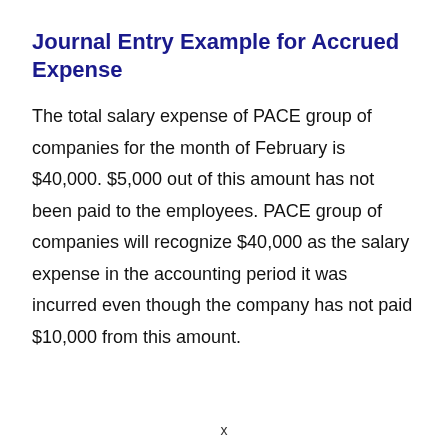Journal Entry Example for Accrued Expense
The total salary expense of PACE group of companies for the month of February is $40,000. $5,000 out of this amount has not been paid to the employees. PACE group of companies will recognize $40,000 as the salary expense in the accounting period it was incurred even though the company has not paid $10,000 from this amount.
x